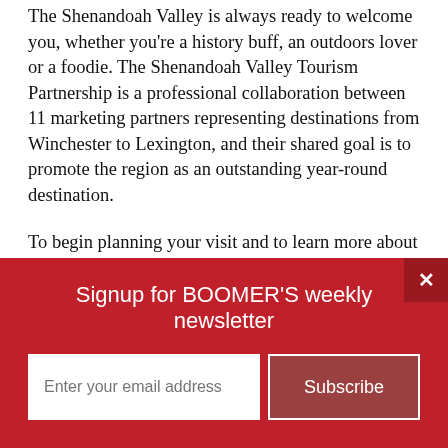The Shenandoah Valley is always ready to welcome you, whether you're a history buff, an outdoors lover or a foodie. The Shenandoah Valley Tourism Partnership is a professional collaboration between 11 marketing partners representing destinations from Winchester to Lexington, and their shared goal is to promote the region as an outstanding year-round destination.
To begin planning your visit and to learn more about these sites and all the adventures that await you in the Shenandoah Valley, please check out www.virginiasshenandoahvalley.com.
Woodrow Wilson Presidential Library of...
Signup for BOOMER'S weekly newsletter
Enter your email address
Subscribe